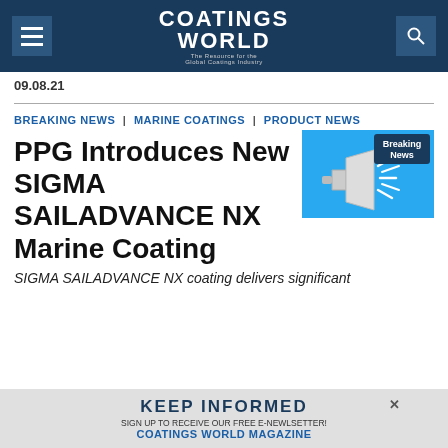COATINGS WORLD - The Resource for the Global Coatings Industry
09.08.21
BREAKING NEWS | MARINE COATINGS | PRODUCT NEWS
[Figure (illustration): Breaking News banner with megaphone icon on blue background]
PPG Introduces New SIGMA SAILADVANCE NX Marine Coating
SIGMA SAILADVANCE NX coating delivers significant
[Figure (infographic): Keep Informed advertisement banner - Sign up to receive our free e-newsletter! Coatings World Magazine]